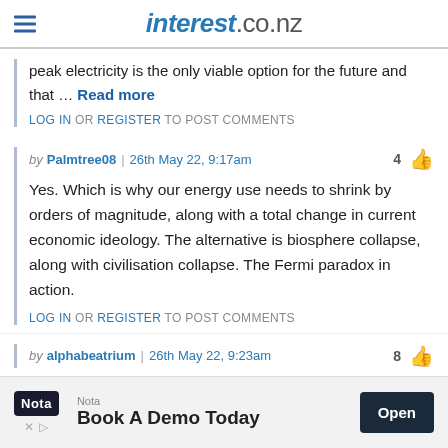interest.co.nz
peak electricity is the only viable option for the future and that … Read more
LOG IN OR REGISTER TO POST COMMENTS
by Palmtree08 | 26th May 22, 9:17am  4 👍
Yes. Which is why our energy use needs to shrink by orders of magnitude, along with a total change in current economic ideology. The alternative is biosphere collapse, along with civilisation collapse. The Fermi paradox in action.
LOG IN OR REGISTER TO POST COMMENTS
by alphabeatrium | 26th May 22, 9:23am  8 👍
[Figure (screenshot): Advertisement banner for Nota — 'Book A Demo Today' with Open button]